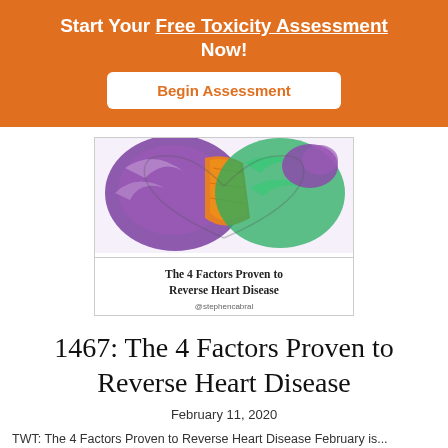Start Your Free Toxicity Assessment Now!
Begin Assessment
[Figure (illustration): Book cover image showing a heart made of vegetables (purple cabbage, orange carrot, green leaves) with the title 'The 4 Factors Proven to Reverse Heart Disease' and @stephencabral handle]
1467: The 4 Factors Proven to Reverse Heart Disease
February 11, 2020
TWT: The 4 Factors Proven to Reverse Heart Disease February is...